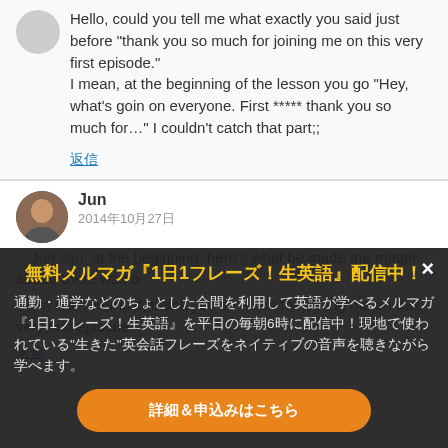Hello, could you tell me what exactly you said just before “thank you so much for joining me on this very first episode.”
I mean, at the beginning of the lesson you go “Hey, what’s goin on everyone. First ***** thank you so much for…” I couldn’t catch that part;;
返信
Jun
2014年10月27日
...Jun san, at the beginning, here’s what he made the matter about there was a...
[Figure (screenshot): Popup overlay advertisement for a Japanese English learning newsletter service. Title in yellow: 無料メルマガ『1日1フレーズ！生英語』配信中！ Body text in white/gray Japanese. Button: 詳細＆申込みはこちら (orange rounded button). Close button X in top right.]